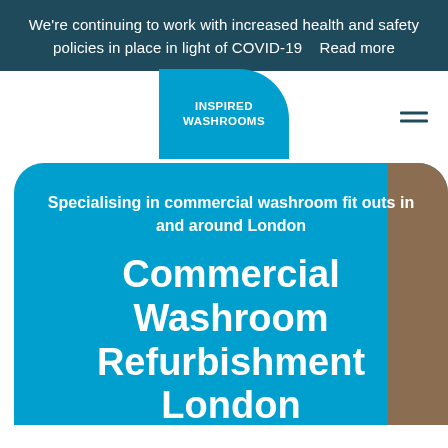We're continuing to work with increased health and safety policies in place in light of COVID-19   Read more
[Figure (logo): Inspired Washrooms logo on teal rounded tab]
Specialising in commercial washroom fit outs in and around London
Commercial Washroom Refurbishment London